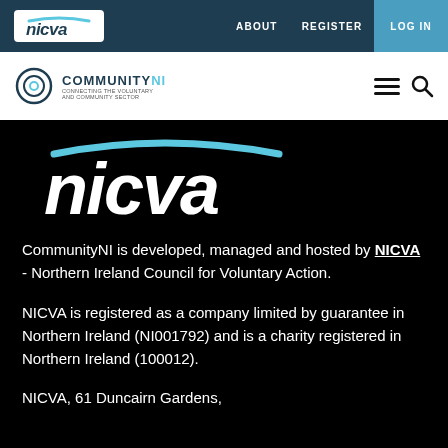nicva | ABOUT  REGISTER  LOG IN
[Figure (logo): CommunityNI logo with hamburger menu and search icon on white bar]
[Figure (logo): NICVA large logo in white italic bold text with blue arc on black background]
CommunityNI is developed, managed and hosted by NICVA - Northern Ireland Council for Voluntary Action.
NICVA is registered as a company limited by guarantee in Northern Ireland (NI001792) and is a charity registered in Northern Ireland (100012).
NICVA, 61 Duncairn Gardens,